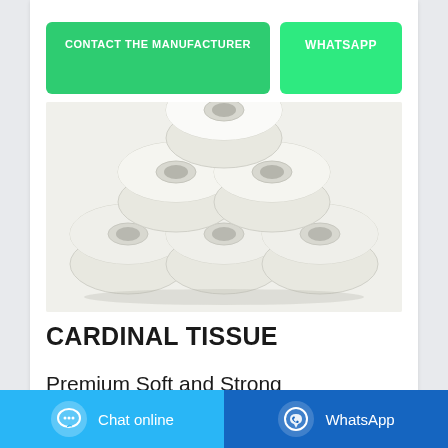[Figure (other): Two green buttons: 'CONTACT THE MANUFACTURER' and 'WHATSAPP']
[Figure (photo): Stack of six white toilet paper rolls arranged in a pyramid shape on a white background]
CARDINAL TISSUE
Premium Soft and Strong
[Figure (other): Bottom bar with two buttons: 'Chat online' (light blue) and 'WhatsApp' (dark blue)]